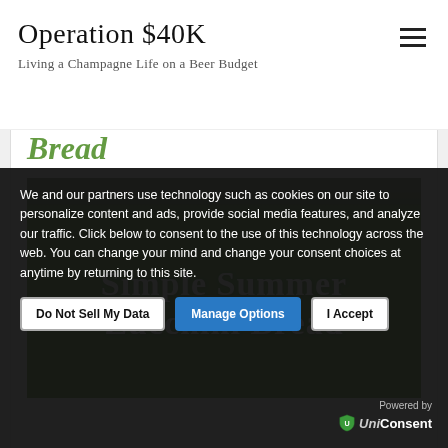Operation $40K
Living a Champagne Life on a Beer Budget
Bread
[Figure (photo): Recipe image showing green background with white serif text reading 'Simple Summer Zucchini Bread', with a rocky/stone texture at the top]
We and our partners use technology such as cookies on our site to personalize content and ads, provide social media features, and analyze our traffic. Click below to consent to the use of this technology across the web. You can change your mind and change your consent choices at anytime by returning to this site.